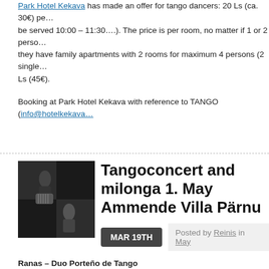Park Hotel Kekava has made an offer for tango dancers: 20 Ls (ca. 30€) per... be served 10:00 – 11:30….). The price is per room, no matter if 1 or 2 perso... they have family apartments with 2 rooms for maximum 4 persons (2 single... Ls (45€).
Booking at Park Hotel Kekava with reference to TANGO (info@hotelkekava...
Tangoconcert and milonga 1. May Ammende Villa Pärnu
MAR 19TH
Posted by Reinis in May
Ranas – Duo Porteño de Tango
LEANDRO SCHNAIDER – bandoneón
PABLO SCHIAFFINO – piano
(Argentina)
Video: http://www.youtube.com/watch?v=G30_B8JV0AA
1. May 2012 AMMENDE VILLA Pärnu
17:30 – 19:30 Milonga in Green Salon, DJ Kaja
20:00 – 21:00 Concert in Main Hall
21:00 – 24:00 Milonga in Main Hall, DJ Kaja